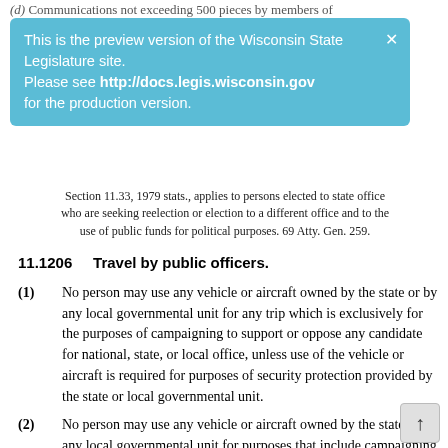(d) Communications not exceeding 500 pieces by members of
[Figure (other): Preview banner for Wisconsin State Legislature site: 'This is the preview version of the Wisconsin State Legislature site. Please see http://docs.legis.wisconsin.gov for the production version.']
Section 11.33, 1979 stats., applies to persons elected to state office who are seeking reelection or election to a different office and to the use of public funds for political purposes. 69 Atty. Gen. 259.
11.1206    Travel by public officers.
(1) No person may use any vehicle or aircraft owned by the state or by any local governmental unit for any trip which is exclusively for the purposes of campaigning to support or oppose any candidate for national, state, or local office, unless use of the vehicle or aircraft is required for purposes of security protection provided by the state or local governmental unit.
(2) No person may use any vehicle or aircraft owned by the state or by any local governmental unit for purposes that include campaigning to support or oppose any candidate for national, state, or local office, unless the person pays to the state or local governmental unit a fee which is comparable to the commercial market rate for the use of a similar vehicle or aircraft and for any services provided by the state or local